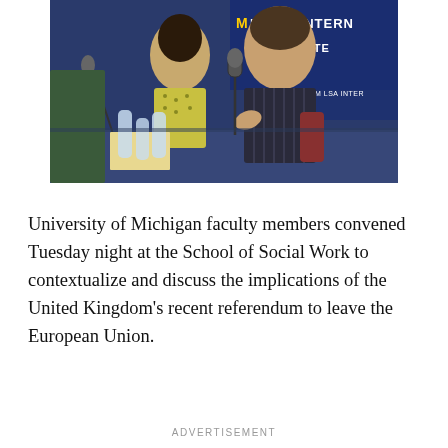[Figure (photo): Panel discussion at the University of Michigan School of Social Work. A man in a dark striped shirt speaks into a microphone at a conference table; a woman in a patterned top sits beside him. In the background is a blue banner reading 'M LSA INTERNATIONAL INSTITUTE'. Water bottles and papers are on the table.]
University of Michigan faculty members convened Tuesday night at the School of Social Work to contextualize and discuss the implications of the United Kingdom's recent referendum to leave the European Union.
ADVERTISEMENT